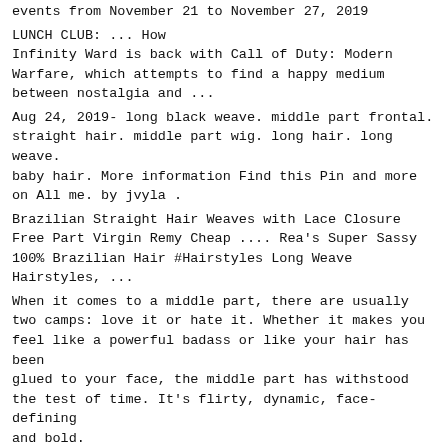events from November 21 to November 27, 2019
LUNCH CLUB: ... How Infinity Ward is back with Call of Duty: Modern Warfare, which attempts to find a happy medium between nostalgia and ...
Aug 24, 2019- long black weave. middle part frontal. straight hair. middle part wig. long hair. long weave. baby hair. More information Find this Pin and more on All me. by jvyla .
Brazilian Straight Hair Weaves with Lace Closure Free Part Virgin Remy Cheap .... Rea's Super Sassy 100% Brazilian Hair #Hairstyles Long Weave Hairstyles, ...
When it comes to a middle part, there are usually two camps: love it or hate it. Whether it makes you feel like a powerful badass or like your hair has been glued to your face, the middle part has withstood the test of time. It's flirty, dynamic, face-defining and bold.
School-run parent shamed by police over parking